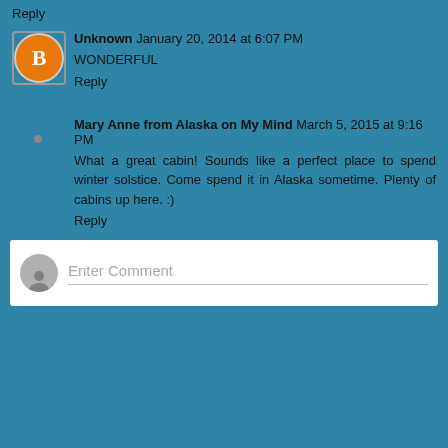Reply
Unknown  January 20, 2014 at 6:07 PM
WONDERFUL
Reply
Mary Anne from Alaska on My Mind  March 5, 2015 at 9:16 PM
What a great cabin! Sounds like a perfect place to spend winter solstice. Come spend it in Alaska sometime. Plenty of cabins up here. :)
Reply